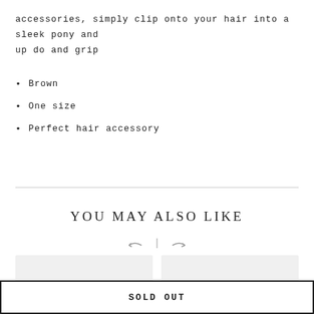accessories, simply clip onto your hair into a sleek pony and up do and grip
Brown
One size
Perfect hair accessory
YOU MAY ALSO LIKE
[Figure (other): Navigation arrows (back and forward) with a vertical divider between them]
[Figure (other): Two product image placeholder cards side by side]
SOLD OUT